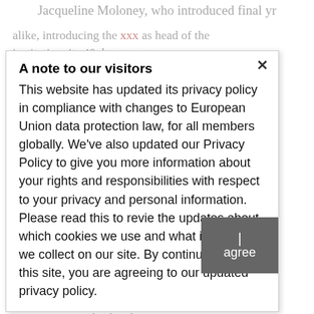Jacqueline Moloney, who introduced final yr
A note to our visitors
This website has updated its privacy policy in compliance with changes to European Union data protection law, for all members globally. We've also updated our Privacy Policy to give you more information about your rights and responsibilities with respect to your privacy and personal information. Please read this to review the updates about which cookies we use and what information we collect on our site. By continuing to use this site, you are agreeing to our updated privacy policy.
I agree
an interview with Chen by cellphone, electronic mail, or Zoom (or another platform), contact Emily Cowden